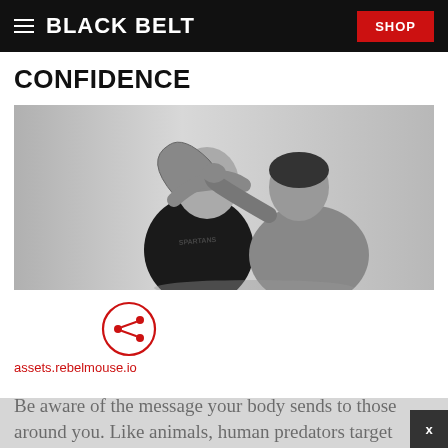BLACK BELT  SHOP
CONFIDENCE
[Figure (photo): Black and white photo of two men practicing martial arts — one in a black t-shirt blocking a strike from the other in a grey t-shirt, both leaning forward in an aggressive stance.]
[Figure (other): Share icon — circular red outline with a share/network symbol inside]
assets.rebelmouse.io
Be aware of the message your body sends to those around you. Like animals, human predators target